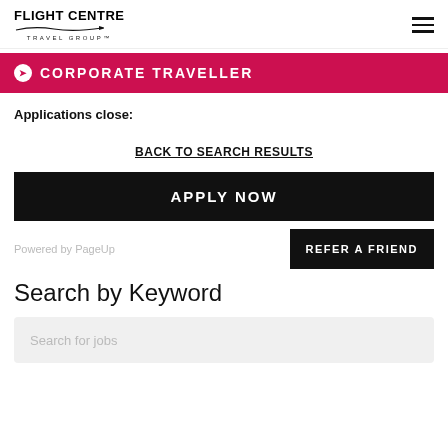FLIGHT CENTRE TRAVEL GROUP
[Figure (logo): Flight Centre Travel Group logo with airplane swoosh, and hamburger menu icon on the right]
[Figure (infographic): Corporate Traveller pink/red banner with icon and uppercase text CORPORATE TRAVELLER]
Applications close:
BACK TO SEARCH RESULTS
APPLY NOW
Powered by PageUp
REFER A FRIEND
Search by Keyword
Search for jobs